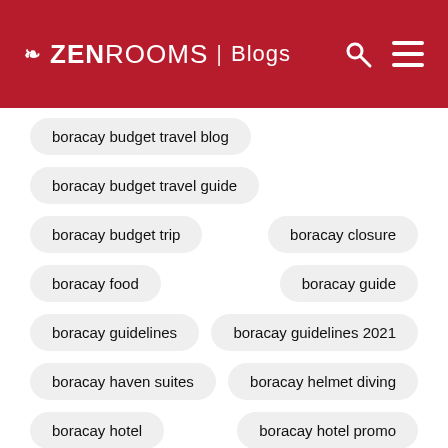ZenRooms | Blogs
boracay budget travel blog
boracay budget travel guide
boracay budget trip
boracay closure
boracay food
boracay guide
boracay guidelines
boracay guidelines 2021
boracay haven suites
boracay helmet diving
boracay hotel
boracay hotel promo
boracay hotels
boracay hotels station 1